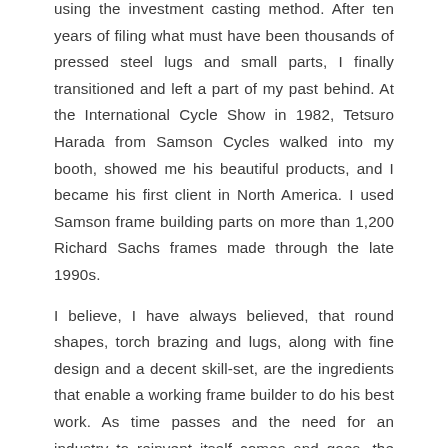using the investment casting method. After ten years of filing what must have been thousands of pressed steel lugs and small parts, I finally transitioned and left a part of my past behind. At the International Cycle Show in 1982, Tetsuro Harada from Samson Cycles walked into my booth, showed me his beautiful products, and I became his first client in North America. I used Samson frame building parts on more than 1,200 Richard Sachs frames made through the late 1990s.
I believe, I have always believed, that round shapes, torch brazing and lugs, along with fine design and a decent skill-set, are the ingredients that enable a working frame builder to do his best work. As time passes and the need for an industry to reinvent itself comes and goes, the frame builder listens to his own voice and isn't distracted by the commercial noise that gets louder with each passing fad. That's my line, anyhow.